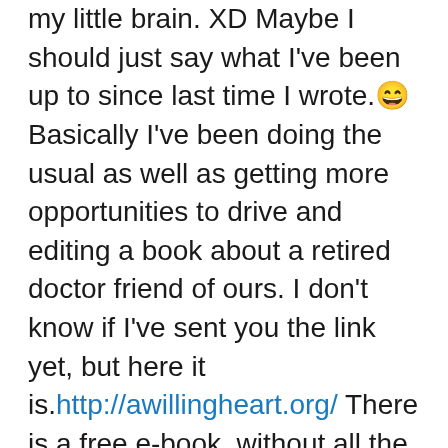my little brain. XD Maybe I should just say what I've been up to since last time I wrote.😄 Basically I've been doing the usual as well as getting more opportunities to drive and editing a book about a retired doctor friend of ours. I don't know if I've sent you the link yet, but here it is.http://awillingheart.org/ There is a free e-book, without all the corrections yet. And my dad is planning to get the edited book professionally printed so that he can send it to people across the country as a ministry resource. I've also been getting in touch with children from all across the country through biblememory.com, and it's been encouraging and fun! 🙂 I'm so glad I found out about it!